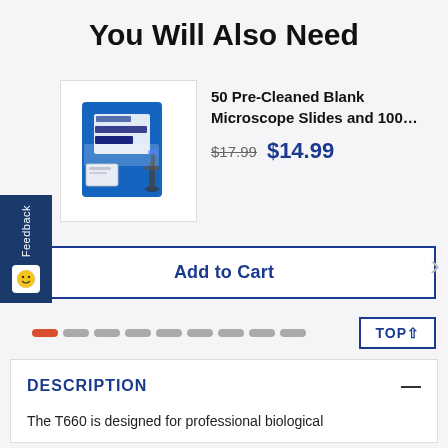You Will Also Need
[Figure (photo): Box of AmScope Microscope Slides with microscope image on packaging — blue and white product box]
50 Pre-Cleaned Blank Microscope Slides and 100…
$17.99  $14.99
Add to Cart
TOP ^
DESCRIPTION
The T660 is designed for professional biological